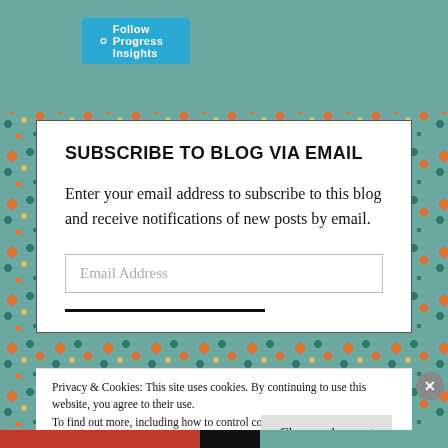[Figure (screenshot): Blue button with circular icon labeled 'Follow Progress Insights' on decorative teal/orange floral patterned background]
SUBSCRIBE TO BLOG VIA EMAIL
Enter your email address to subscribe to this blog and receive notifications of new posts by email.
Email Address
Privacy & Cookies: This site uses cookies. By continuing to use this website, you agree to their use.
To find out more, including how to control cookies, see here:
Cookie Policy
Close and accept